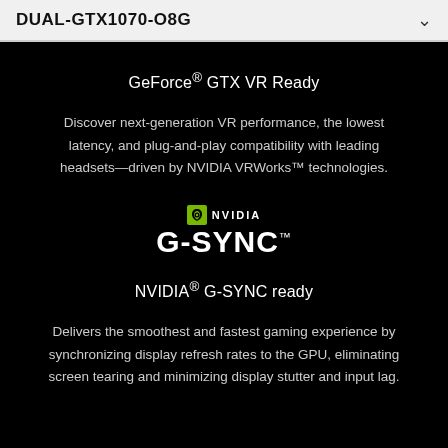DUAL-GTX1070-O8G
GeForce® GTX VR Ready
Discover next-generation VR performance, the lowest latency, and plug-and-play compatibility with leading headsets—driven by NVIDIA VRWorks™ technologies.
[Figure (logo): NVIDIA G-SYNC logo with green NVIDIA eye icon and white G-SYNC text]
NVIDIA® G-SYNC ready
Delivers the smoothest and fastest gaming experience by synchronizing display refresh rates to the GPU, eliminating screen tearing and minimizing display stutter and input lag.